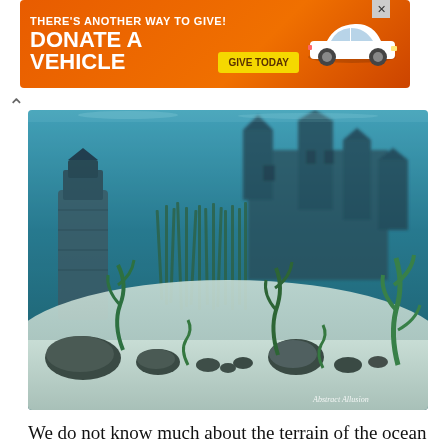[Figure (screenshot): Orange advertisement banner: 'THERE'S ANOTHER WAY TO GIVE! DONATE A VEHICLE' with yellow 'GIVE TODAY' button and white car image on right, with X close button]
[Figure (illustration): 3D rendered fantasy underwater scene showing a sunken castle/ruins in the background, with rocks, seaweed, and sandy ocean floor in foreground, teal/blue color palette. Watermark reads 'Abstract Allusion' in bottom right.]
We do not know much about the terrain of the ocean because none of us like to go underwater much. But